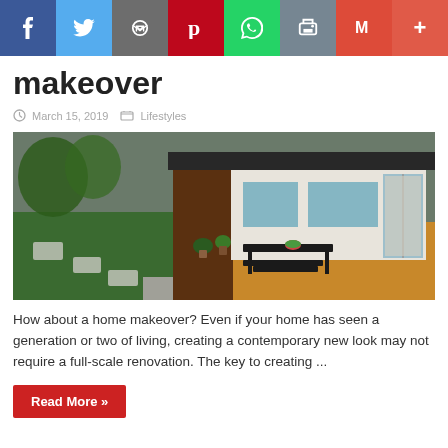Social share bar: Facebook, Twitter, Email, Pinterest, WhatsApp, Print, Gmail, More
makeover
March 15, 2019   Lifestyles
[Figure (photo): Exterior photo of a modern home with wooden deck, outdoor table and benches, potted plants, grass yard with stepping stones, and dark roof.]
How about a home makeover? Even if your home has seen a generation or two of living, creating a contemporary new look may not require a full-scale renovation. The key to creating ...
Read More »